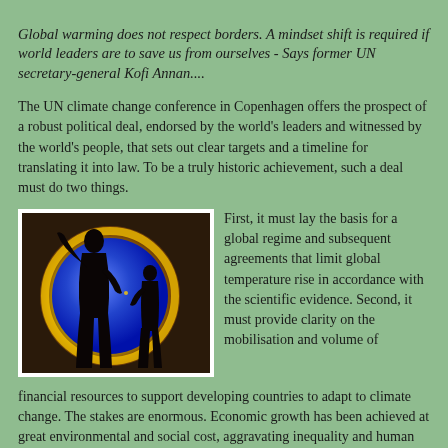Global warming does not respect borders. A mindset shift is required if world leaders are to save us from ourselves - Says former UN secretary-general Kofi Annan....
The UN climate change conference in Copenhagen offers the prospect of a robust political deal, endorsed by the world's leaders and witnessed by the world's people, that sets out clear targets and a timeline for translating it into law. To be a truly historic achievement, such a deal must do two things.
[Figure (photo): Silhouette of a person standing in front of a large illuminated blue globe or sphere, with yellow/orange glow around edges, against a dark background.]
First, it must lay the basis for a global regime and subsequent agreements that limit global temperature rise in accordance with the scientific evidence. Second, it must provide clarity on the mobilisation and volume of financial resources to support developing countries to adapt to climate change. The stakes are enormous. Economic growth has been achieved at great environmental and social cost, aggravating inequality and human vulnerability. The irreparable damage that is being inflicted on ecosystems, agricultural productivity, forests and